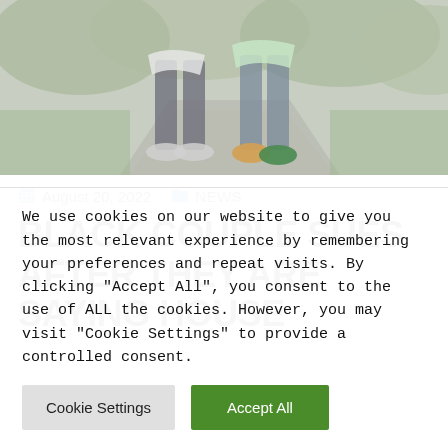[Figure (photo): Bottom halves of two people standing on a stone walkway with green lawn and bushes, washed out/faded photo]
August 20, 2022  NEWS
BLACK COUPLE SUES AFTER THEY ARE SAYING HOUSE
We use cookies on our website to give you the most relevant experience by remembering your preferences and repeat visits. By clicking "Accept All", you consent to the use of ALL the cookies. However, you may visit "Cookie Settings" to provide a controlled consent.